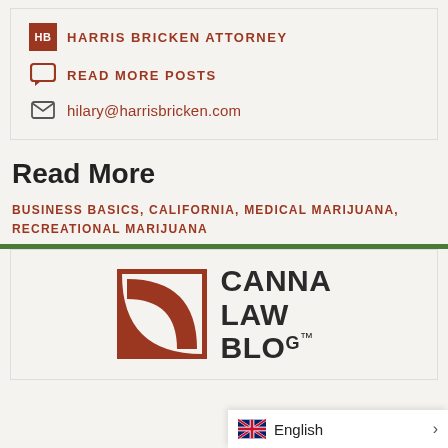HARRIS BRICKEN ATTORNEY
READ MORE POSTS
hilary@harrisbricken.com
Read More
BUSINESS BASICS, CALIFORNIA, MEDICAL MARIJUANA, RECREATIONAL MARIJUANA
[Figure (logo): Canna Law Blog logo with brown square graphic and text CANNA LAW BLO[G]™]
English